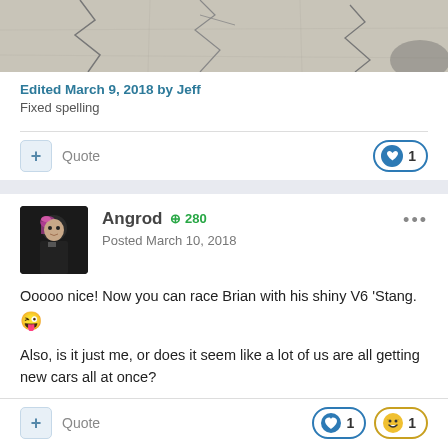[Figure (photo): Top portion of a cracked concrete surface photo]
Edited March 9, 2018 by Jeff
Fixed spelling
Angrod +280
Posted March 10, 2018
Ooooo nice! Now you can race Brian with his shiny V6 'Stang. 😜
Also, is it just me, or does it seem like a lot of us are all getting new cars all at once?